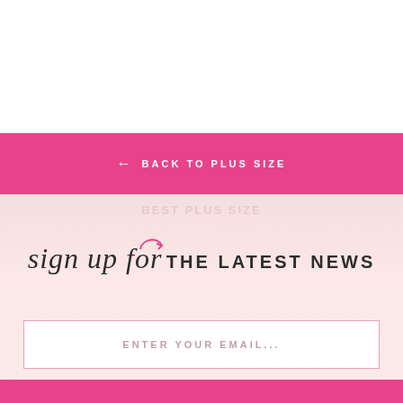← BACK TO PLUS SIZE
sign up for THE LATEST NEWS
ENTER YOUR EMAIL...